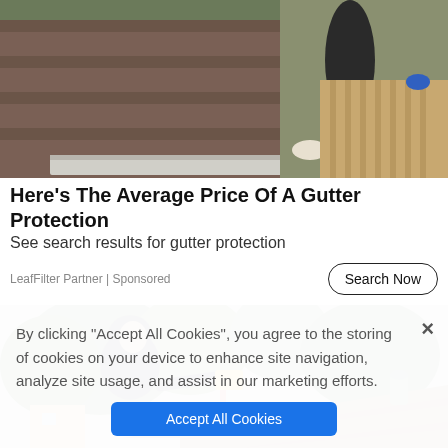[Figure (photo): Worker in gloves cleaning or installing gutter on a roof with asphalt shingles]
Here's The Average Price Of A Gutter Protection
See search results for gutter protection
LeafFilter Partner | Sponsored
[Figure (photo): Man in dark hoodie using a power tool on a roof with brown asphalt shingles, trees in background]
By clicking “Accept All Cookies”, you agree to the storing of cookies on your device to enhance site navigation, analyze site usage, and assist in our marketing efforts.